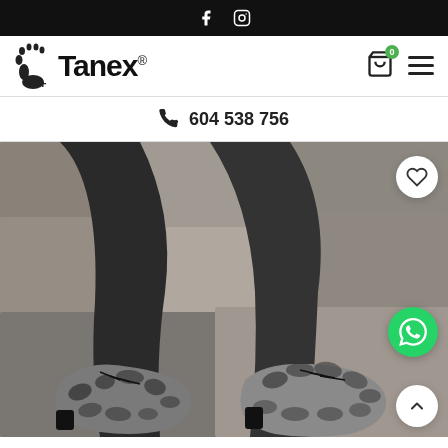f  (instagram icon)
[Figure (logo): Tanex shoe brand logo with footprint icon and registered trademark]
604 538 756
[Figure (photo): Close-up photo of woman's legs wearing black tights and grey snake-print patent leather lace-up Oxford shoes, sitting on stone steps outdoors]